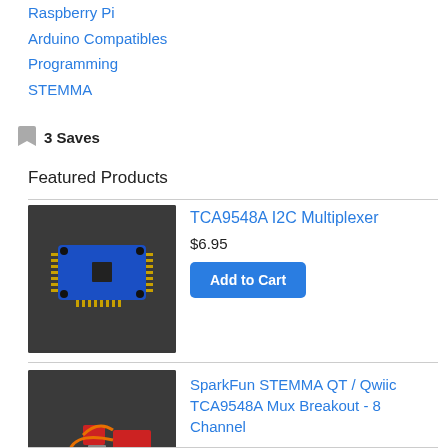Raspberry Pi
Arduino Compatibles
Programming
STEMMA
3 Saves
Featured Products
[Figure (photo): TCA9548A I2C Multiplexer board photo on dark background]
TCA9548A I2C Multiplexer
$6.95
Add to Cart
[Figure (photo): SparkFun STEMMA QT / Qwiic TCA9548A Mux Breakout 8 Channel board photo on dark background]
SparkFun STEMMA QT / Qwiic TCA9548A Mux Breakout - 8 Channel
Out of Stock